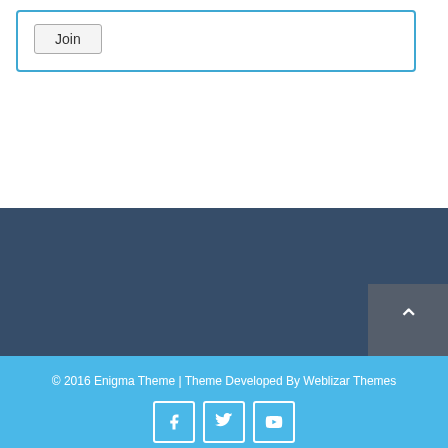[Figure (screenshot): A 'Join' button inside a card with a blue border]
© 2016 Enigma Theme | Theme Developed By Weblizar Themes
[Figure (infographic): Social media icons: Facebook, Twitter, YouTube]